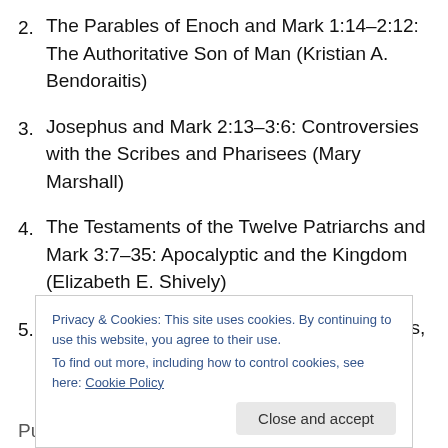2. The Parables of Enoch and Mark 1:14–2:12: The Authoritative Son of Man (Kristian A. Bendoraitis)
3. Josephus and Mark 2:13–3:6: Controversies with the Scribes and Pharisees (Mary Marshall)
4. The Testaments of the Twelve Patriarchs and Mark 3:7–35: Apocalyptic and the Kingdom (Elizabeth E. Shively)
5. 4 Ezra and Mark 4:1–34: Parables on Seeds, Sowing, and Fruit (Klyne Snodgrass)
Privacy & Cookies: This site uses cookies. By continuing to use this website, you agree to their use. To find out more, including how to control cookies, see here: Cookie Policy
Close and accept
Purity (David L. Garland)